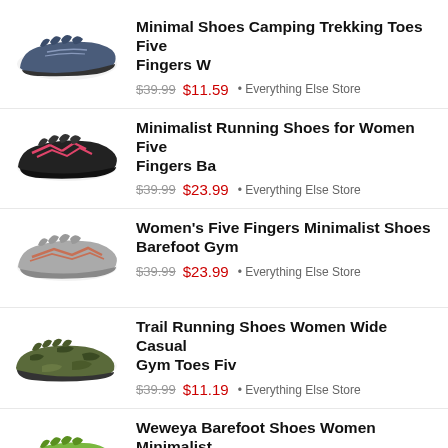Minimal Shoes Camping Trekking Toes Five Fingers W
$39.99 $11.59 • Everything Else Store
Minimalist Running Shoes for Women Five Fingers Ba
$39.99 $23.99 • Everything Else Store
Women's Five Fingers Minimalist Shoes Barefoot Gym
$39.99 $23.99 • Everything Else Store
Trail Running Shoes Women Wide Casual Gym Toes Fiv
$39.99 $11.19 • Everything Else Store
Weweya Barefoot Shoes Women Minimalist Road Runnin